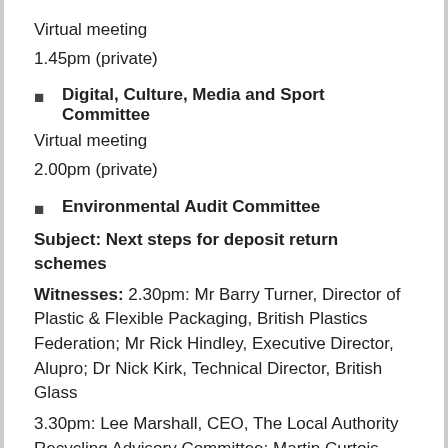Virtual meeting
1.45pm (private)
Digital, Culture, Media and Sport Committee
Virtual meeting
2.00pm (private)
Environmental Audit Committee
Subject: Next steps for deposit return schemes
Witnesses: 2.30pm: Mr Barry Turner, Director of Plastic & Flexible Packaging, British Plastics Federation; Mr Rick Hindley, Executive Director, Alupro; Dr Nick Kirk, Technical Director, British Glass
3.30pm: Lee Marshall, CEO, The Local Authority Recycling Advisory Committee; Martin Curtois,